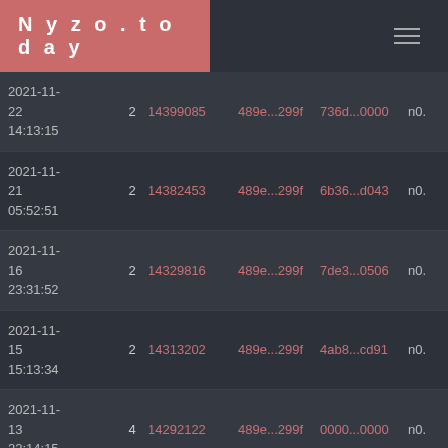Nyzo.today
| Date | Num | ID | Hash1 | Hash2 | N |
| --- | --- | --- | --- | --- | --- |
| 2021-11-22 14:13:15 | 2 | 14399085 | 489e...299f | 736d...0000 | n0. |
| 2021-11-21 05:52:51 | 2 | 14382453 | 489e...299f | 6b36...d043 | n0. |
| 2021-11-16 23:31:52 | 2 | 14329816 | 489e...299f | 7de3...0506 | n0. |
| 2021-11-15 15:13:34 | 2 | 14313202 | 489e...299f | 4ab8...cd91 | n0. |
| 2021-11-13 22:14:15 | 4 | 14292122 | 489e...299f | 0000...0000 | n0. |
| 2021-11-... | 2 | 14285553 | 489e...299f | 1dfc...53cf |  |